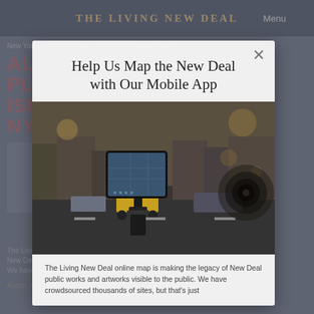THE LIVING NEW DEAL
New York » New York City
New York » Staten Island
AUSTIN J. MCDONALD PLAYGROUND — STATEN ISLAND NY
Project type: Parks and Recreation, Comfort Stations (Restrooms) Playgrounds
Agency: Temporary Emergency Relief Act (NY only)
Completed: 1934
The Living New Deal online map is making the legacy of New Deal public works and artworks visible to the public.
We have crowdsourced thousands of sites, but that's just
[Figure (screenshot): Modal popup showing 'Help Us Map the New Deal with Our Mobile App' with an image of a person filming a city street with a smartphone on a gimbal]
Help Us Map the New Deal with Our Mobile App
The Living New Deal online map is making the legacy of New Deal public works and artworks visible to the public. We have crowdsourced thousands of sites, but that's just